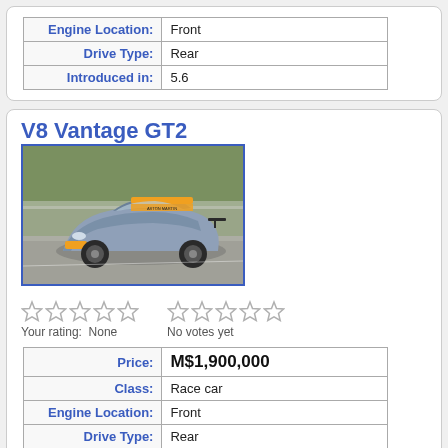| Label | Value |
| --- | --- |
| Engine Location: | Front |
| Drive Type: | Rear |
| Introduced in: | 5.6 |
V8 Vantage GT2
[Figure (photo): Photo of a blue Aston Martin V8 Vantage GT2 race car with orange accents on a race track]
Your rating: None
No votes yet
| Label | Value |
| --- | --- |
| Price: | M$1,900,000 |
| Class: | Race car |
| Engine Location: | Front |
| Drive Type: | Rear |